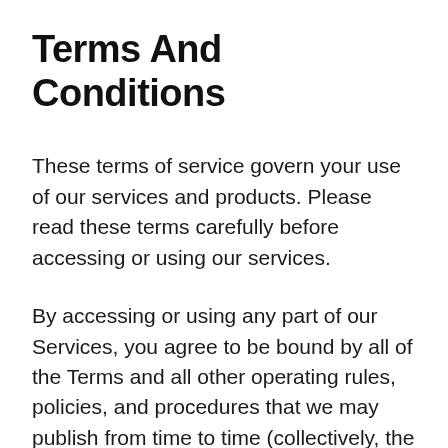Terms And Conditions
These terms of service govern your use of our services and products. Please read these terms carefully before accessing or using our services.
By accessing or using any part of our Services, you agree to be bound by all of the Terms and all other operating rules, policies, and procedures that we may publish from time to time (collectively, the “Agreement”). You also agree that we may automatically